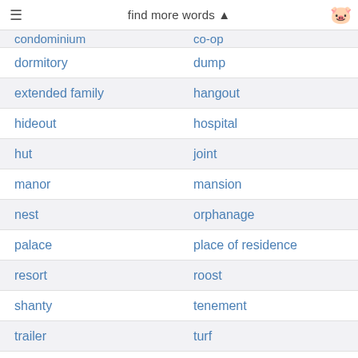find more words ▲
condominium | co-op
dormitory | dump
extended family | hangout
hideout | hospital
hut | joint
manor | mansion
nest | orphanage
palace | place of residence
resort | roost
shanty | tenement
trailer | turf
villa | boarding house
crash pad | dwelling place
home plate | living quarters
parking place | rooming house